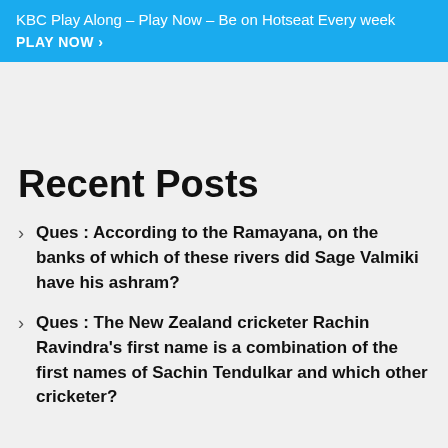KBC Play Along – Play Now – Be on Hotseat Every week
PLAY NOW ›
Recent Posts
Ques : According to the Ramayana, on the banks of which of these rivers did Sage Valmiki have his ashram?
Ques : The New Zealand cricketer Rachin Ravindra's first name is a combination of the first names of Sachin Tendulkar and which other cricketer?